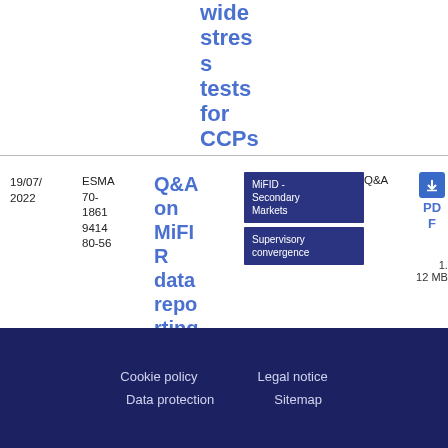wide stress tests for CCPs
| Date | Reference | Title | Tags | Type | Download |
| --- | --- | --- | --- | --- | --- |
| 19/07/2022 | ESMA 70-18619414 80-56 | Q&A on MiFIR data reporting | MiFID - Secondary Markets | Supervisory convergence | Q&A | PDF 1.12 MB |
Cookie policy   Legal notice   Data protection   Sitemap